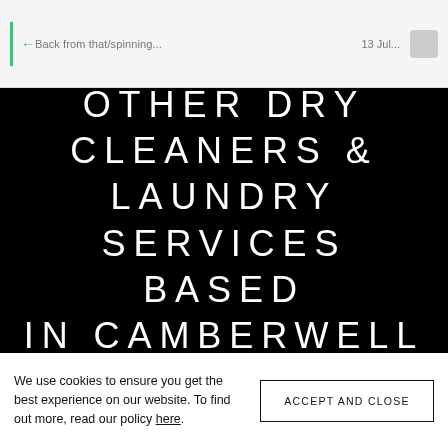[Figure (screenshot): Top browser/app navigation bar with a green vertical bar, back arrow icon in green, partially visible text 'Back from that/spinning...' and a date '13 Jul...' on the right, and a small grey icon on the far right.]
OTHER DRY CLEANERS & LAUNDRY SERVICES BASED IN CAMBERWELL
We use cookies to ensure you get the best experience on our website. To find out more, read our policy here.
ACCEPT AND CLOSE